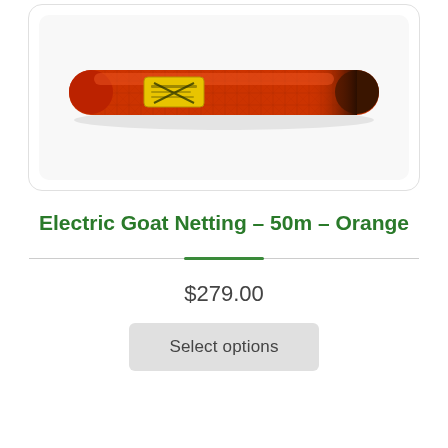[Figure (photo): A rolled-up orange electric goat netting, cylindrical in shape, with a yellow brand label near the left end and dark coloring at the right tip, photographed on a white background.]
Electric Goat Netting – 50m – Orange
$279.00
Select options